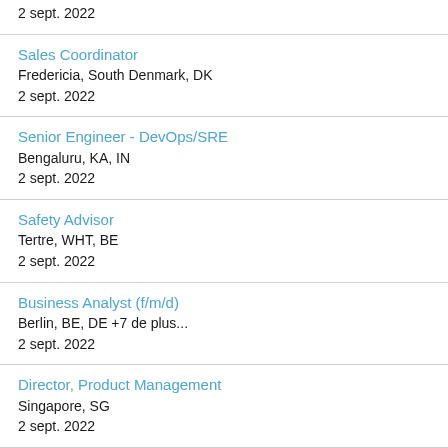2 sept. 2022
Sales Coordinator
Fredericia, South Denmark, DK
2 sept. 2022
Senior Engineer - DevOps/SRE
Bengaluru, KA, IN
2 sept. 2022
Safety Advisor
Tertre, WHT, BE
2 sept. 2022
Business Analyst (f/m/d)
Berlin, BE, DE +7 de plus...
2 sept. 2022
Director, Product Management
Singapore, SG
2 sept. 2022